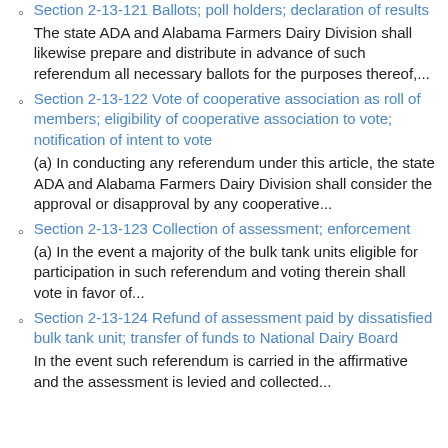Section 2-13-121 Ballots; poll holders; declaration of results
The state ADA and Alabama Farmers Dairy Division shall likewise prepare and distribute in advance of such referendum all necessary ballots for the purposes thereof,...
Section 2-13-122 Vote of cooperative association as roll of members; eligibility of cooperative association to vote; notification of intent to vote
(a) In conducting any referendum under this article, the state ADA and Alabama Farmers Dairy Division shall consider the approval or disapproval by any cooperative...
Section 2-13-123 Collection of assessment; enforcement
(a) In the event a majority of the bulk tank units eligible for participation in such referendum and voting therein shall vote in favor of...
Section 2-13-124 Refund of assessment paid by dissatisfied bulk tank unit; transfer of funds to National Dairy Board
In the event such referendum is carried in the affirmative and the assessment is levied and collected...